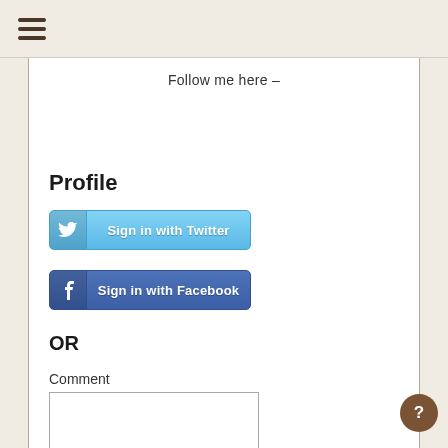[Figure (other): Hamburger menu icon (three horizontal lines)]
Follow me here –
Profile
[Figure (other): Sign in with Twitter button]
[Figure (other): Sign in with Facebook button]
OR
Comment
[Figure (other): Comment text area input box]
Name